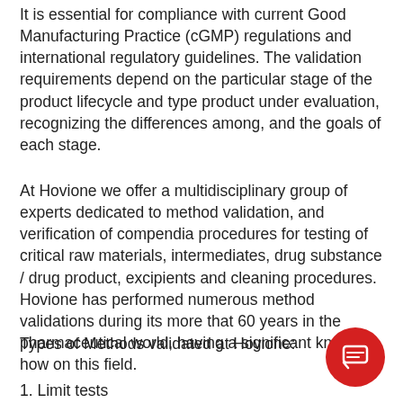It is essential for compliance with current Good Manufacturing Practice (cGMP) regulations and international regulatory guidelines. The validation requirements depend on the particular stage of the product lifecycle and type product under evaluation, recognizing the differences among, and the goals of each stage.
At Hovione we offer a multidisciplinary group of experts dedicated to method validation, and verification of compendia procedures for testing of critical raw materials, intermediates, drug substance / drug product, excipients and cleaning procedures. Hovione has performed numerous method validations during its more that 60 years in the pharmaceutical world, having a significant know-how on this field.
Types of Methods validated at Hovione:
1. Limit tests